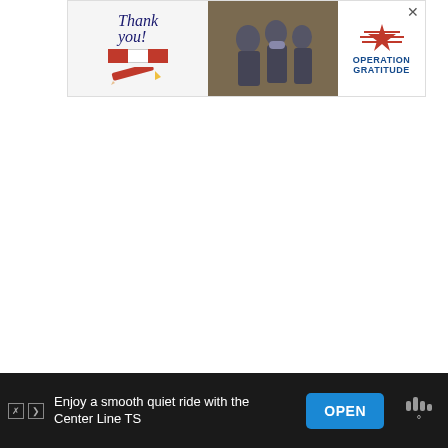[Figure (infographic): Operation Gratitude thank you advertisement banner with soldiers and American flag imagery, close button (×) in top right]
[Figure (infographic): Heart/favorite button (teal circle with heart icon) and share button (white circle with share icon) on right side]
[Figure (infographic): What's Next panel showing landscape thumbnail and text 'What is a Class B RV?']
3) A CLASS B RV ACTUALLY GE
[Figure (infographic): Bottom advertisement bar with text 'Enjoy a smooth quiet ride with the Center Line TS', OPEN button, weather widget, and ad close/info icons]